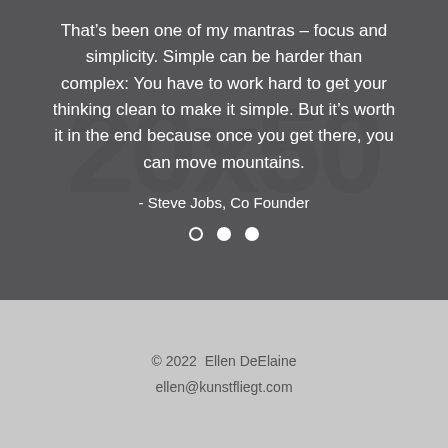That’s been one of my mantras – focus and simplicity. Simple can be harder than complex: You have to work hard to get your thinking clean to make it simple. But it’s worth it in the end because once you get there, you can move mountains.
- Steve Jobs, Co Founder
© 2022  Ellen DeElaine
ellen@kunstfliegt.com